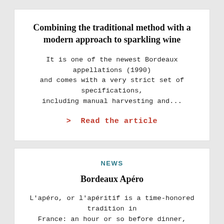Combining the traditional method with a modern approach to sparkling wine
It is one of the newest Bordeaux appellations (1990) and comes with a very strict set of specifications, including manual harvesting and...
> Read the article
NEWS
Bordeaux Apéro
L'apéro, or l'apéritif is a time-honored tradition in France: an hour or so before dinner, l'apéro marks the time to unwind with...